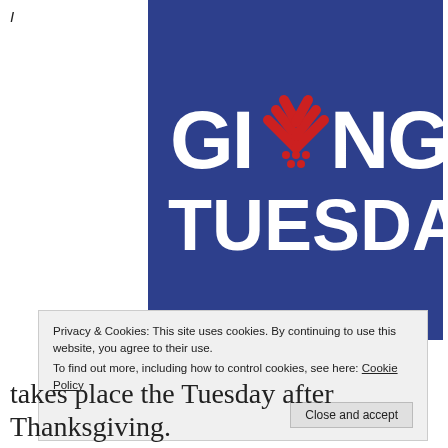1
[Figure (logo): GivingTuesday logo: bold white text 'GIVING TUESDAY' on a dark blue square background, with a red heart/chevron symbol replacing the letter 'O' in GIVING]
Privacy & Cookies: This site uses cookies. By continuing to use this website, you agree to their use.
To find out more, including how to control cookies, see here: Cookie Policy
Close and accept
takes place the Tuesday after Thanksgiving.